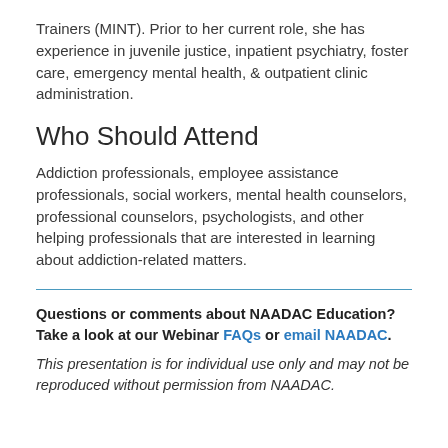Trainers (MINT). Prior to her current role, she has experience in juvenile justice, inpatient psychiatry, foster care, emergency mental health, & outpatient clinic administration.
Who Should Attend
Addiction professionals, employee assistance professionals, social workers, mental health counselors, professional counselors, psychologists, and other helping professionals that are interested in learning about addiction-related matters.
Questions or comments about NAADAC Education? Take a look at our Webinar FAQs or email NAADAC.
This presentation is for individual use only and may not be reproduced without permission from NAADAC.